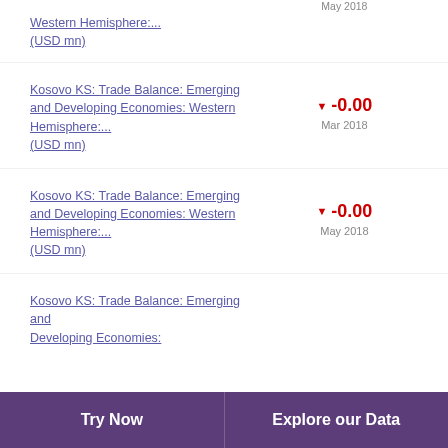Western Hemisphere:... (USD mn)
Kosovo KS: Trade Balance: Emerging and Developing Economies: Western Hemisphere:... (USD mn) ▼ -0.00 Mar 2018
Kosovo KS: Trade Balance: Emerging and Developing Economies: Western Hemisphere:... (USD mn) ▼ -0.00 May 2018
Kosovo KS: Trade Balance: Emerging and Developing Economies:
Try Now | Explore our Data